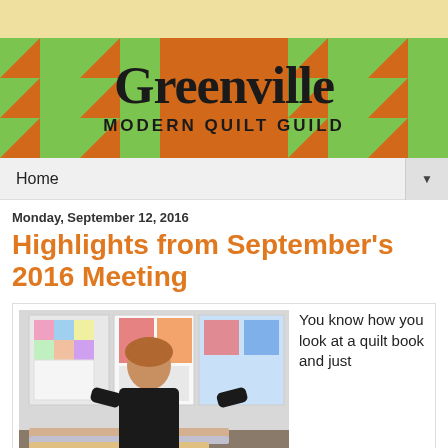[Figure (illustration): Greenville Modern Quilt Guild banner with orange and green houndstooth/triangle quilt pattern background and large bold text]
Home ▼
Monday, September 12, 2016
Highlights from September's 2016 Meeting
[Figure (photo): Woman with curly hair standing in front of colorful quilts displayed on a wall, with fabric stacks on a table]
You know how you look at a quilt book and just